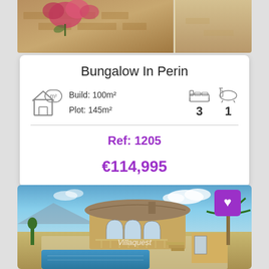[Figure (photo): Top portion of a property photo showing flowers and exterior wall]
Bungalow In Perin
Build: 100m²
Plot: 145m²
3 bedrooms, 1 bathroom
Ref: 1205
€114,995
[Figure (photo): Exterior photo of a Spanish villa/bungalow with swimming pool, blue sky, and palm trees. Villaquest watermark visible.]